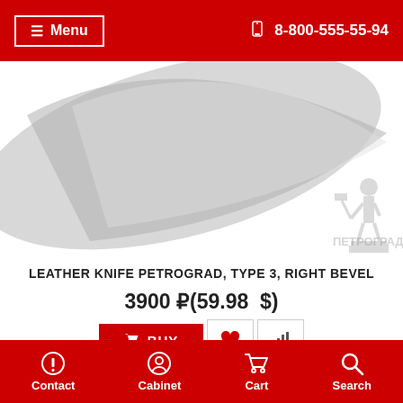≡ Menu   📱 8-800-555-55-94
[Figure (photo): Partial view of a leather knife blade with ПЕТРОГРАДЪ watermark/logo showing a craftsman figure]
LEATHER KNIFE PETROGRAD, TYPE 3, RIGHT BEVEL
3900 ₽(59.98  $)
BUY  ♥  [chart icon]
Отзывов: 1    Рейтинг : ★★★★★
Social sharing icons: VK, OK, FB, Viber, WhatsApp, Skype, Pinterest
Contact   Cabinet   Cart   Search